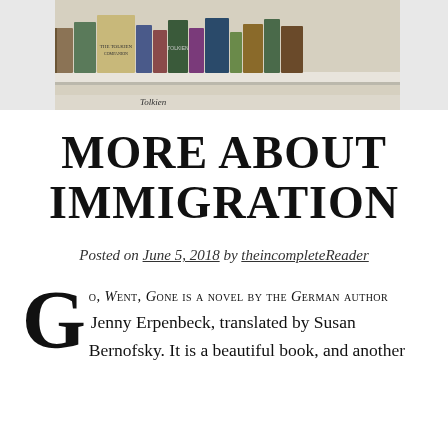[Figure (photo): Photo of a bookshelf with various books, including Tolkien titles visible on the spines.]
MORE ABOUT IMMIGRATION
Posted on June 5, 2018 by theincompleteReader
Go, Went, Gone is a novel by the German author Jenny Erpenbeck, translated by Susan Bernofsky. It is a beautiful book, and another